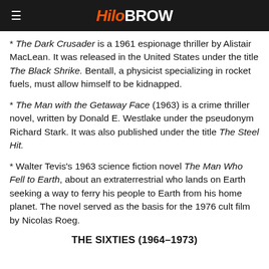HiloBrow
* The Dark Crusader is a 1961 espionage thriller by Alistair MacLean. It was released in the United States under the title The Black Shrike. Bentall, a physicist specializing in rocket fuels, must allow himself to be kidnapped.
* The Man with the Getaway Face (1963) is a crime thriller novel, written by Donald E. Westlake under the pseudonym Richard Stark. It was also published under the title The Steel Hit.
* Walter Tevis's 1963 science fiction novel The Man Who Fell to Earth, about an extraterrestrial who lands on Earth seeking a way to ferry his people to Earth from his home planet. The novel served as the basis for the 1976 cult film by Nicolas Roeg.
THE SIXTIES (1964–1973)